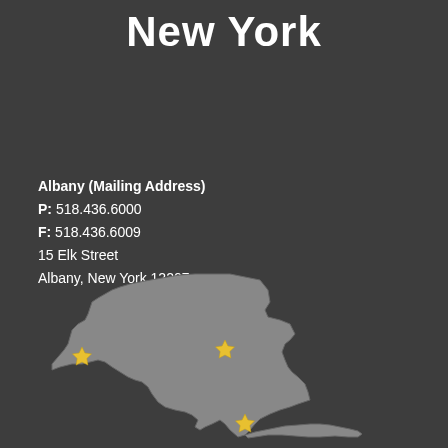New York
Albany (Mailing Address)
P: 518.436.6000
F: 518.436.6009
15 Elk Street
Albany, New York 12207
[Figure (map): Outline map of the state of New York in gray with three gold star markers indicating office locations: one in western NY, one in central-eastern NY (Albany area), and one in New York City area.]